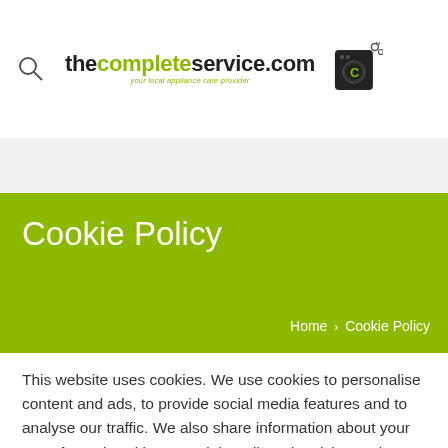[Figure (logo): thecompleteservice.com logo with washing machine icon and tagline 'your local appliance care provider']
Cookie Policy
Home > Cookie Policy
This website uses cookies. We use cookies to personalise content and ads, to provide social media features and to analyse our traffic. We also share information about your use of our site with our social media, advertising and analytics partners who may combine it with other